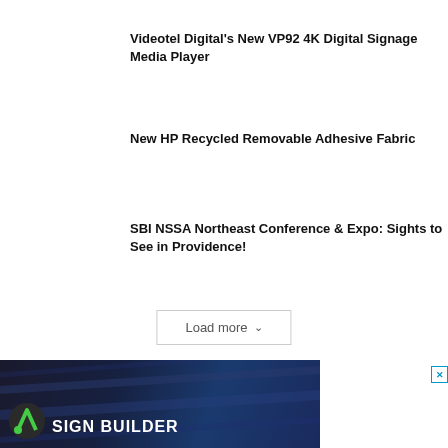Videotel Digital's New VP92 4K Digital Signage Media Player
New HP Recycled Removable Adhesive Fabric
SBI NSSA Northeast Conference & Expo: Sights to See in Providence!
Load more
[Figure (photo): Sign Builder advertisement banner with dark blue background and brand logo]